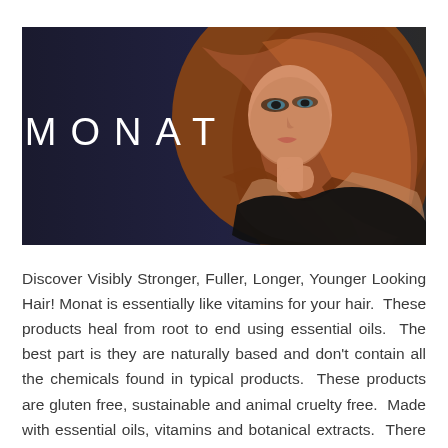[Figure (photo): MONAT brand banner: dark navy background on the left with the word MONAT in wide-spaced white capital letters, and a young woman with long auburn wavy hair wearing a black top on the right side, posing with her hand near her neck.]
Discover Visibly Stronger, Fuller, Longer, Younger Looking Hair! Monat is essentially like vitamins for your hair.  These products heal from root to end using essential oils.  The best part is they are naturally based and don't contain all the chemicals found in typical products.  These products are gluten free, sustainable and animal cruelty free.  Made with essential oils, vitamins and botanical extracts.  There are NO parabens, sulfates or silicones, they are for all hair types and truly can help with so many issues.